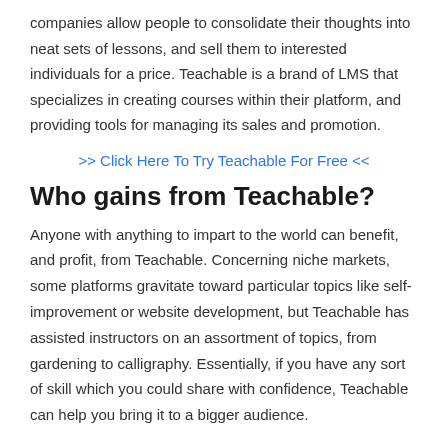companies allow people to consolidate their thoughts into neat sets of lessons, and sell them to interested individuals for a price. Teachable is a brand of LMS that specializes in creating courses within their platform, and providing tools for managing its sales and promotion.
>> Click Here To Try Teachable For Free <<
Who gains from Teachable?
Anyone with anything to impart to the world can benefit, and profit, from Teachable. Concerning niche markets, some platforms gravitate toward particular topics like self-improvement or website development, but Teachable has assisted instructors on an assortment of topics, from gardening to calligraphy. Essentially, if you have any sort of skill which you could share with confidence, Teachable can help you bring it to a bigger audience.